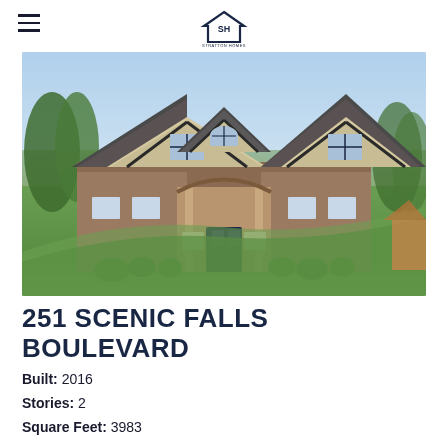Stratton Homes logo and navigation
[Figure (photo): Exterior photo of a large two-story brick and Tudor-style home with three peaked gables, arched porch entry, green lawn on a sloped lot, shrubs, and clear sky background. Located at 251 Scenic Falls Boulevard.]
251 SCENIC FALLS BOULEVARD
Built: 2016
Stories: 2
Square Feet: 3983